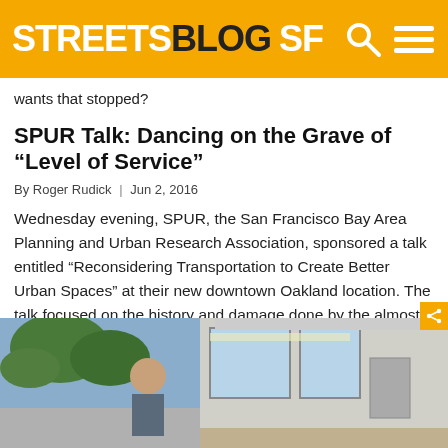STREETSBLOG SF
wants that stopped?
SPUR Talk: Dancing on the Grave of “Level of Service”
By Roger Rudick | Jun 2, 2016
Wednesday evening, SPUR, the San Francisco Bay Area Planning and Urban Research Association, sponsored a talk entitled “Reconsidering Transportation to Create Better Urban Spaces” at their new downtown Oakland location. The talk focused on the history and damage done by the almost mindless adherence over the years to Level of Service (LOS) on urban spaces [...]
[Figure (photo): A man standing in front of a storefront, outdoor urban setting]